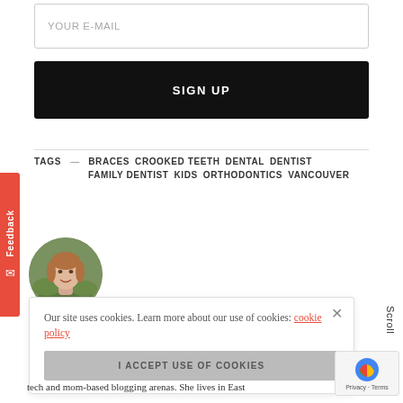YOUR E-MAIL
SIGN UP
TAGS — BRACES   CROOKED TEETH   DENTAL   DENTIST   FAMILY DENTIST   KIDS   ORTHODONTICS   VANCOUVER
[Figure (photo): Circular author photo of a smiling woman with light brown hair, outdoors with green foliage background]
Our site uses cookies. Learn more about our use of cookies: cookie policy
I ACCEPT USE OF COOKIES
Scroll
tech and mom-based blogging arenas. She lives in East